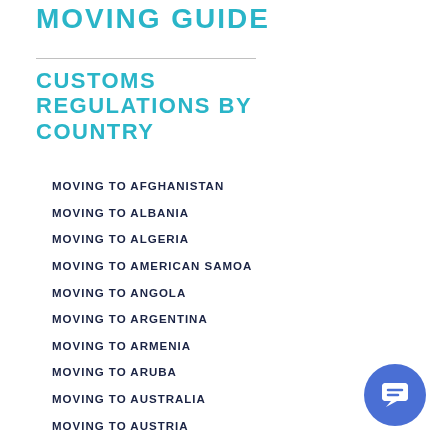MOVING GUIDE
CUSTOMS REGULATIONS BY COUNTRY
MOVING TO AFGHANISTAN
MOVING TO ALBANIA
MOVING TO ALGERIA
MOVING TO AMERICAN SAMOA
MOVING TO ANGOLA
MOVING TO ARGENTINA
MOVING TO ARMENIA
MOVING TO ARUBA
MOVING TO AUSTRALIA
MOVING TO AUSTRIA
MOVING TO AZERBAIJAN
MOVING TO BAHAMAS
MOVING TO BAHRAIN